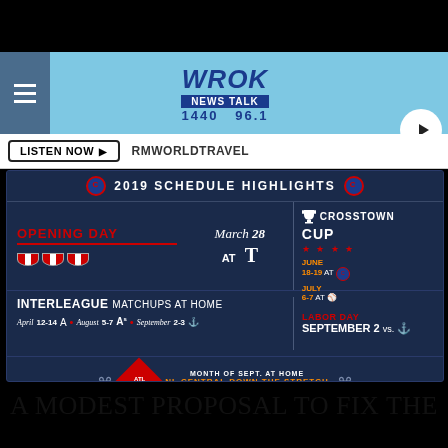[Figure (screenshot): WROK News Talk 1440 96.1 radio station website header with hamburger menu, logo, and play button]
LISTEN NOW ▶   RMWORLDTRAVEL
[Figure (infographic): 2019 Chicago Cubs Schedule Highlights infographic showing: Opening Day March 28 at T (Texas Rangers), Crosstown Cup June 18-19 at Cubs / July 6-7 at White Sox, Interleague Matchups at Home April 12-14 Angels, August 5-7 Athletics, September 2-3 Mariners, Labor Day September 2 vs Mariners, Month of Sept. at Home NL Central Down The Stretch]
A MODEST PROPOSAL TO FIX THE